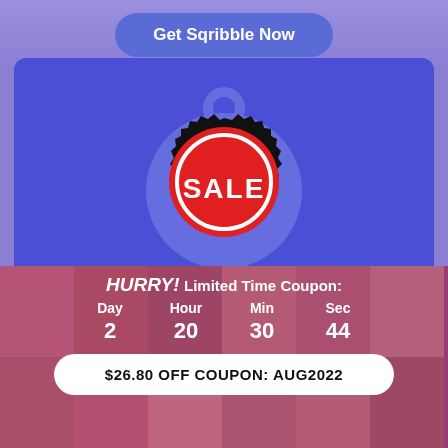Get Sqribble Now
[Figure (illustration): A sale badge (red circle with SALE text, black jagged border) on a blue circular background]
Regular Price $197
HURRY! Limited Time Coupon:
Day 2   Hour 20   Min 30   Sec 44
$26.80 OFF COUPON: AUG2022